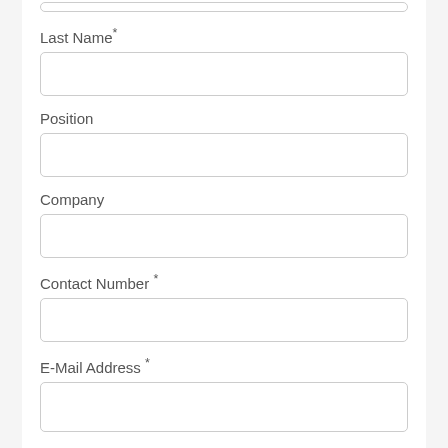Last Name*
Position
Company
Contact Number *
E-Mail Address *